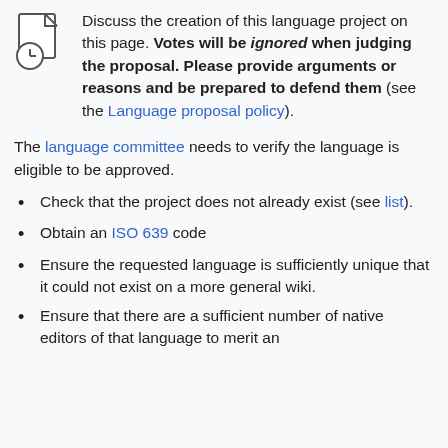Discuss the creation of this language project on this page. Votes will be ignored when judging the proposal. Please provide arguments or reasons and be prepared to defend them (see the Language proposal policy).
The language committee needs to verify the language is eligible to be approved.
Check that the project does not already exist (see list).
Obtain an ISO 639 code
Ensure the requested language is sufficiently unique that it could not exist on a more general wiki.
Ensure that there are a sufficient number of native editors of that language to merit an